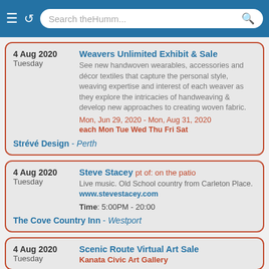Search theHumm...
4 Aug 2020 Tuesday | Weavers Unlimited Exhibit & Sale | See new handwoven wearables, accessories and décor textiles that capture the personal style, weaving expertise and interest of each weaver as they explore the intricacies of handweaving & develop new approaches to creating woven fabric. Mon, Jun 29, 2020 - Mon, Aug 31, 2020 each Mon Tue Wed Thu Fri Sat | Strévé Design - Perth
4 Aug 2020 Tuesday | Steve Stacey pt of: on the patio | Live music. Old School country from Carleton Place. www.stevestacey.com | Time: 5:00PM - 20:00 | The Cove Country Inn - Westport
4 Aug 2020 Tuesday | Scenic Route Virtual Art Sale | Kanata Civic Art Gallery